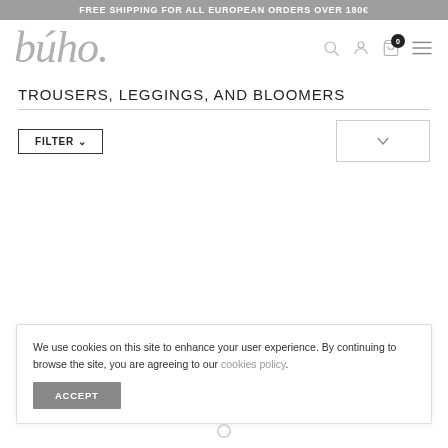FREE SHIPPING FOR ALL EUROPEAN ORDERS OVER 180€
[Figure (logo): búho brand logo in grey italic serif font]
TROUSERS, LEGGINGS, AND BLOOMERS
FILTER ∨
We use cookies on this site to enhance your user experience. By continuing to browse the site, you are agreeing to our cookies policy.
ACCEPT